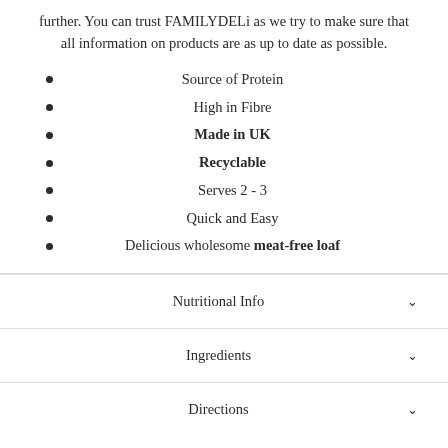further. You can trust FAMILYDELi as we try to make sure that all information on products are as up to date as possible.
Source of Protein
High in Fibre
Made in UK
Recyclable
Serves 2 - 3
Quick and Easy
Delicious wholesome meat-free loaf
Nutritional Info
Ingredients
Directions